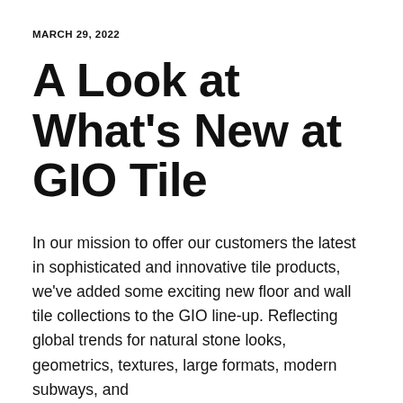MARCH 29, 2022
A Look at What’s New at GIO Tile
In our mission to offer our customers the latest in sophisticated and innovative tile products, we’ve added some exciting new floor and wall tile collections to the GIO line-up. Reflecting global trends for natural stone looks, geometrics, textures, large formats, modern subways, and